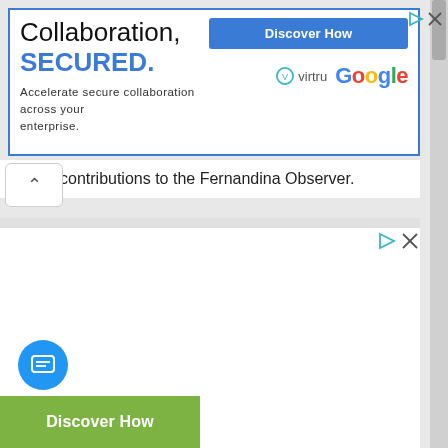[Figure (screenshot): Top advertisement banner with blue border. Left side shows 'Collaboration, SECURED.' heading and subtitle 'Accelerate secure collaboration across your enterprise.' Right side has a blue 'Discover How' button and logos for Virtru and Google.]
contributions to the Fernandina Observer.
[Figure (screenshot): Second advertisement area — blank white space with play and close icons in top-right corner.]
[Figure (screenshot): Bottom UI elements: blue circular chat button with message icon, and green 'Discover How' bar at the bottom.]